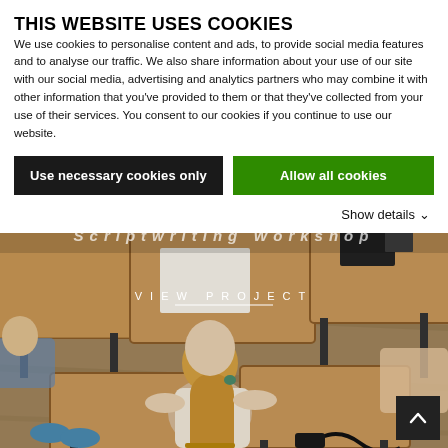THIS WEBSITE USES COOKIES
We use cookies to personalise content and ads, to provide social media features and to analyse our traffic. We also share information about your use of our site with our social media, advertising and analytics partners who may combine it with other information that you've provided to them or that they've collected from your use of their services. You consent to our cookies if you continue to use our website.
Use necessary cookies only
Allow all cookies
Show details ∨
[Figure (photo): Overhead view of students sitting at individual desks in a classroom, writing on papers. A girl with long blonde hair in a ponytail is visible in the center. Text overlay reads 'VIEW PROJECT' with an underline.]